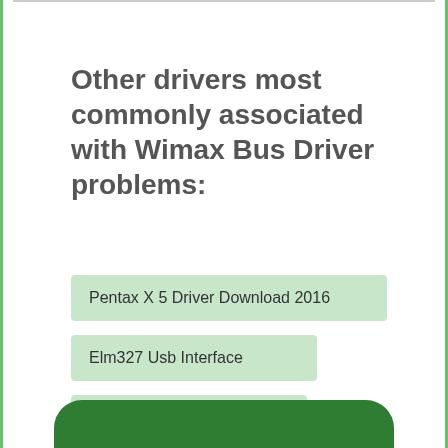Other drivers most commonly associated with Wimax Bus Driver problems:
Pentax X 5 Driver Download 2016
Elm327 Usb Interface
Bluetooth Headset
Umbus Root Bus Enumerator